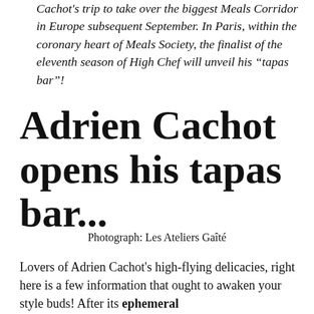Cachot's trip to take over the biggest Meals Corridor in Europe subsequent September. In Paris, within the coronary heart of Meals Society, the finalist of the eleventh season of High Chef will unveil his “tapas bar”!
Adrien Cachot opens his tapas bar...
Photograph: Les Ateliers Gaîté
Lovers of Adrien Cachot's high-flying delicacies, right here is a few information that ought to awaken your style buds! After its ephemeral residence on the Parcheir Ménilmontant...